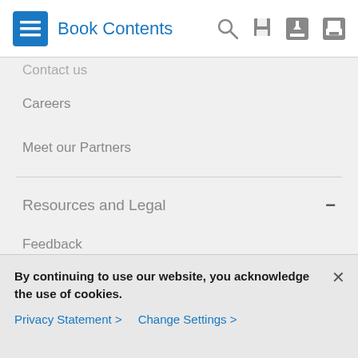Book Contents
Contact us (partially visible)
Careers
Meet our Partners
Resources and Legal
Feedback
Help
Terms & Conditions
Privacy Statement
By continuing to use our website, you acknowledge the use of cookies.
Privacy Statement > Change Settings >